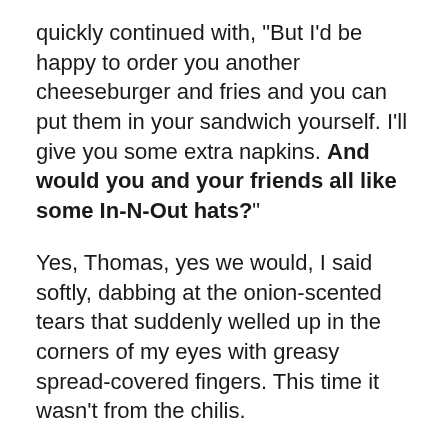quickly continued with, "But I'd be happy to order you another cheeseburger and fries and you can put them in your sandwich yourself. I'll give you some extra napkins. And would you and your friends all like some In-N-Out hats?"
Yes, Thomas, yes we would, I said softly, dabbing at the onion-scented tears that suddenly welled up in the corners of my eyes with greasy spread-covered fingers. This time it wasn't from the chilis.
We left the store positively high on good burgers and even better service and spent the next hour on the beach at Golden Gate Park staring into the sea and pondering how great the world would be if every fast food